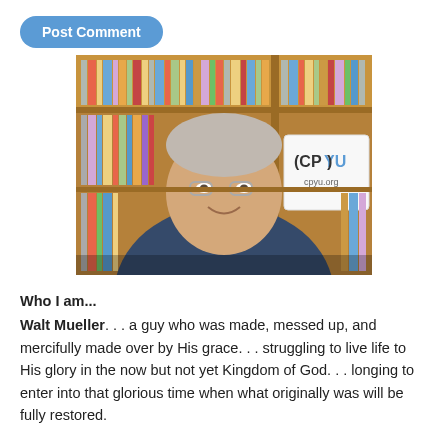[Figure (photo): Portrait photo of Walt Mueller, a middle-aged man with glasses and grey hair, wearing a dark blue shirt, seated in front of a bookshelf with a CPYU (cpyu.org) logo sign visible in the background.]
Who I am...
Walt Mueller. . . a guy who was made, messed up, and mercifully made over by His grace. . . struggling to live life to His glory in the now but not yet Kingdom of God. . . longing to enter into that glorious time when what originally was will be fully restored.